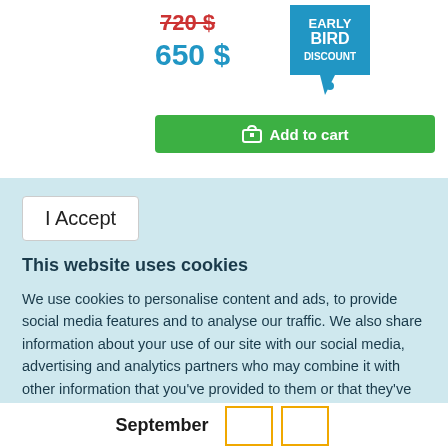720 $
650 $
[Figure (illustration): Early Bird Discount badge in blue and white]
[Figure (illustration): Add to cart green button with cart icon]
I Accept
This website uses cookies
We use cookies to personalise content and ads, to provide social media features and to analyse our traffic. We also share information about your use of our site with our social media, advertising and analytics partners who may combine it with other information that you've provided to them or that they've collected from your use of their services
Privacy policy
September